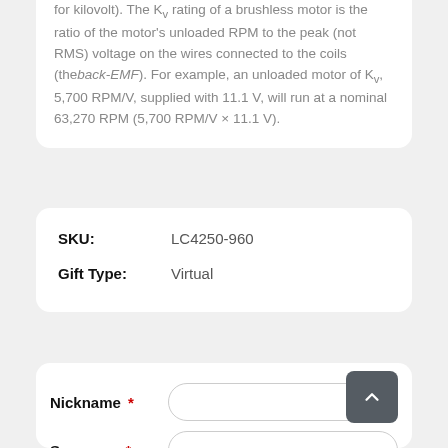for kilovolt). The Kv rating of a brushless motor is the ratio of the motor's unloaded RPM to the peak (not RMS) voltage on the wires connected to the coils (the back-EMF). For example, an unloaded motor of Kv, 5,700 RPM/V, supplied with 11.1 V, will run at a nominal 63,270 RPM (5,700 RPM/V × 11.1 V).
| Field | Value |
| --- | --- |
| SKU: | LC4250-960 |
| Gift Type: | Virtual |
Nickname * [input field]
Summary * [input field]